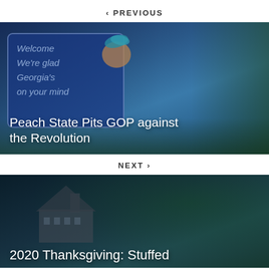< PREVIOUS
[Figure (photo): Blue background photo showing a Georgia Welcome sign with a peach mascot and trees in the background, overlaid with white text reading 'Peach State Pits GOP against the Revolution']
Peach State Pits GOP against the Revolution
NEXT >
[Figure (photo): Dark blue-green toned photo showing a house silhouette with the beginning of text '2020 Thanksgiving: Stuffed' overlaid in white]
2020 Thanksgiving: Stuffed